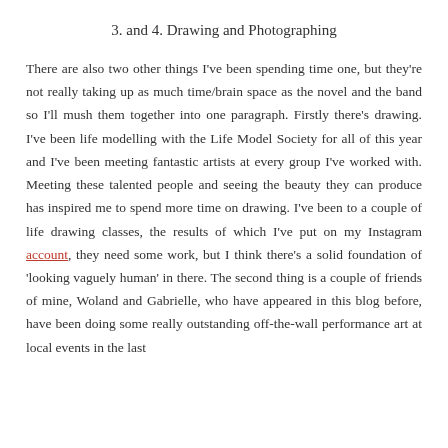3. and 4. Drawing and Photographing
There are also two other things I've been spending time one, but they're not really taking up as much time/brain space as the novel and the band so I'll mush them together into one paragraph. Firstly there's drawing. I've been life modelling with the Life Model Society for all of this year and I've been meeting fantastic artists at every group I've worked with. Meeting these talented people and seeing the beauty they can produce has inspired me to spend more time on drawing. I've been to a couple of life drawing classes, the results of which I've put on my Instagram account, they need some work, but I think there's a solid foundation of 'looking vaguely human' in there. The second thing is a couple of friends of mine, Woland and Gabrielle, who have appeared in this blog before, have been doing some really outstanding off-the-wall performance art at local events in the last